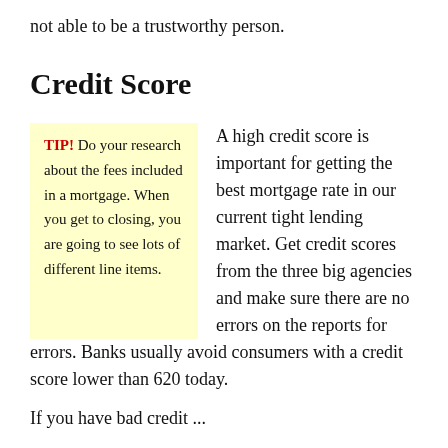not able to be a trustworthy person.
Credit Score
TIP! Do your research about the fees included in a mortgage. When you get to closing, you are going to see lots of different line items.
A high credit score is important for getting the best mortgage rate in our current tight lending market. Get credit scores from the three big agencies and make sure there are no errors on the reports for errors. Banks usually avoid consumers with a credit score lower than 620 today.
If you have bad credit ...